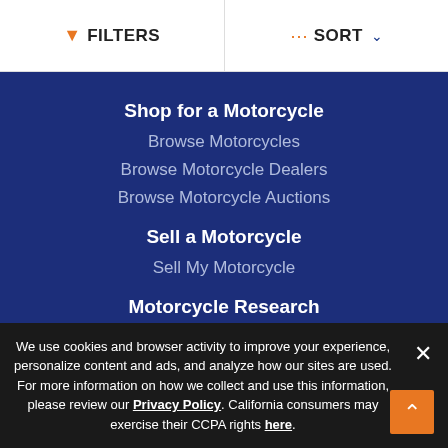FILTERS | SORT
Shop for a Motorcycle
Browse Motorcycles
Browse Motorcycle Dealers
Browse Motorcycle Auctions
Sell a Motorcycle
Sell My Motorcycle
Motorcycle Research
Research Motorcycles
Motorcycle Articles
Motorcycle Resources
Motorcycle Events
We use cookies and browser activity to improve your experience, personalize content and ads, and analyze how our sites are used. For more information on how we collect and use this information, please review our Privacy Policy. California consumers may exercise their CCPA rights here.